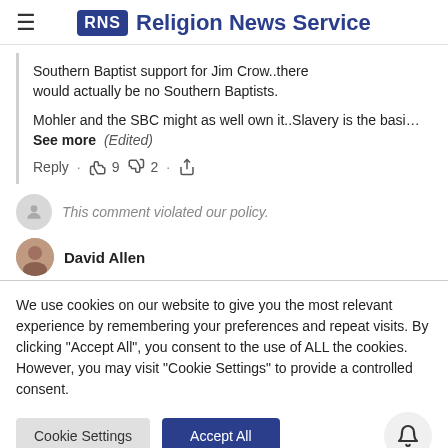RNS Religion News Service
Southern Baptist support for Jim Crow...there would actually be no Southern Baptists.
Mohler and the SBC might as well own it..Slavery is the basi...See more (Edited)
This comment violated our policy.
David Allen
We use cookies on our website to give you the most relevant experience by remembering your preferences and repeat visits. By clicking "Accept All", you consent to the use of ALL the cookies. However, you may visit "Cookie Settings" to provide a controlled consent.